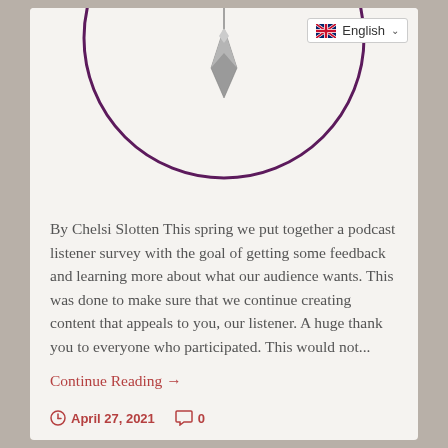[Figure (illustration): Circular purple-bordered logo with a pendant/plumb bob hanging from the center, partially visible at the top of the card. A language selector dropdown showing an English (UK flag) option is overlaid in the top right corner.]
By Chelsi Slotten This spring we put together a podcast listener survey with the goal of getting some feedback and learning more about what our audience wants. This was done to make sure that we continue creating content that appeals to you, our listener. A huge thank you to everyone who participated. This would not...
Continue Reading →
April 27, 2021  0